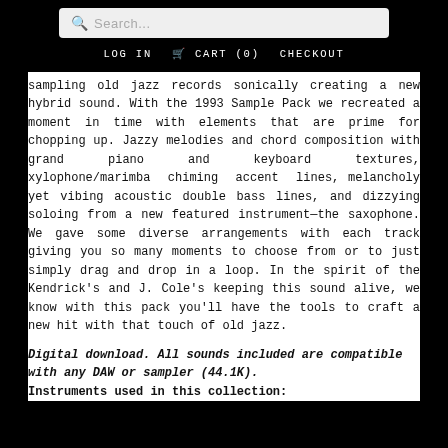Search... | LOG IN | CART (0) | CHECKOUT
sampling old jazz records sonically creating a new hybrid sound. With the 1993 Sample Pack we recreated a moment in time with elements that are prime for chopping up. Jazzy melodies and chord composition with grand piano and keyboard textures, xylophone/marimba chiming accent lines, melancholy yet vibing acoustic double bass lines, and dizzying soloing from a new featured instrument—the saxophone. We gave some diverse arrangements with each track giving you so many moments to choose from or to just simply drag and drop in a loop. In the spirit of the Kendrick's and J. Cole's keeping this sound alive, we know with this pack you'll have the tools to craft a new hit with that touch of old jazz.
Digital download. All sounds included are compatible with any DAW or sampler (44.1K).
Instruments used in this collection: